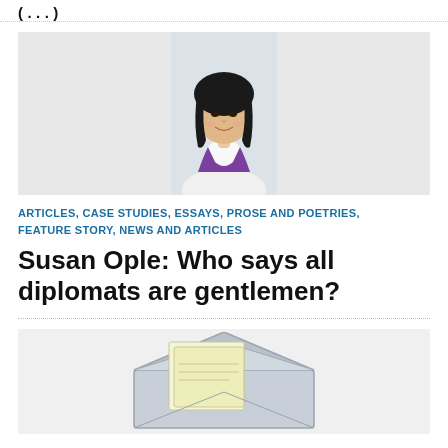(...)
[Figure (photo): Portrait photo of a smiling Asian woman with short black hair wearing a purple vest over a white collared shirt, set against a light gray background.]
ARTICLES, CASE STUDIES, ESSAYS, PROSE AND POETRIES, FEATURE STORY, NEWS AND ARTICLES
Susan Ople: Who says all diplomats are gentlemen?
[Figure (illustration): Illustration of an open envelope with letters or papers inside, rendered in a simple flat style with gray and cream colors.]